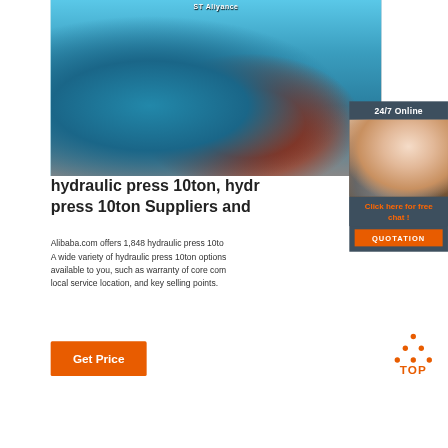[Figure (photo): Blue hydraulic press machine component photographed in workshop setting, with red interior and grey floor visible. ST Aliyance branding visible at top.]
[Figure (photo): 24/7 Online customer service representative - woman with headset smiling, shown in sidebar panel with dark background]
hydraulic press 10ton, hydraulic press 10ton Suppliers and
Alibaba.com offers 1,848 hydraulic press 10ton products. A wide variety of hydraulic press 10ton options are available to you, such as warranty of core components, local service location, and key selling points.
Get Price
[Figure (logo): TOP badge logo with orange dots arranged in triangle above the word TOP in orange text]